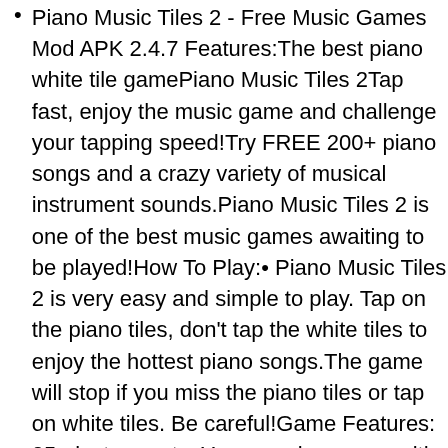Piano Music Tiles 2 - Free Music Games Mod APK 2.4.7 Features:The best piano white tile gamePiano Music Tiles 2Tap fast, enjoy the music game and challenge your tapping speed!Try FREE 200+ piano songs and a crazy variety of musical instrument sounds.Piano Music Tiles 2 is one of the best music games awaiting to be played!How To Play:• Piano Music Tiles 2 is very easy and simple to play. Tap on the piano tiles, don't tap the white tiles to enjoy the hottest piano songs.The game will stop if you miss the piano tiles or tap on white tiles. Be careful!Game Features: 05+ instruments: You can play songs with Home Piano, Grand Piano, Harp, Vibraphone, Celesta,